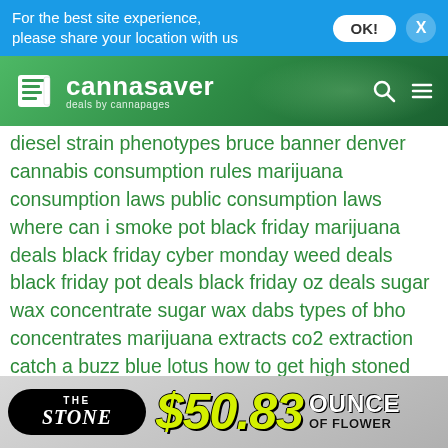For the best site experience, please share your location with us
[Figure (logo): Cannasaver deals by cannapages logo on green header background]
diesel strain phenotypes bruce banner denver cannabis consumption rules marijuana consumption laws public consumption laws where can i smoke pot black friday marijuana deals black friday cyber monday weed deals black friday pot deals black friday oz deals sugar wax concentrate sugar wax dabs types of bho concentrates marijuana extracts co2 extraction catch a buzz blue lotus how to get high stoned plants and spices la weed deals downtown la weed deals east la weed deals ftp deals los angeles first time patient deals holiday deals and savings christmas weed deals save money on weed colorado weed deals holiday season marijuana deals las vegas marijuana las vegas medical marijuana rules vegas weed
[Figure (other): The Stone dispensary ad banner: The Stone logo and $50.83 OUNCE OF FLOWER deal]